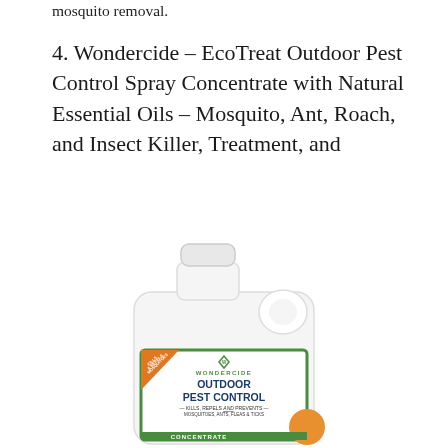mosquito removal.
4. Wondercide – EcoTreat Outdoor Pest Control Spray Concentrate with Natural Essential Oils – Mosquito, Ant, Roach, and Insect Killer, Treatment, and
[Figure (photo): White plastic jug/container of Wondercide Outdoor Pest Control product with green and orange label showing the Wondercide logo and text reading OUTDOOR PEST CONTROL – KILLS, REPELS AND PREVENTS – MOSQUITOES, ANTS, FLEAS & TICKS – CONCENTRATE]